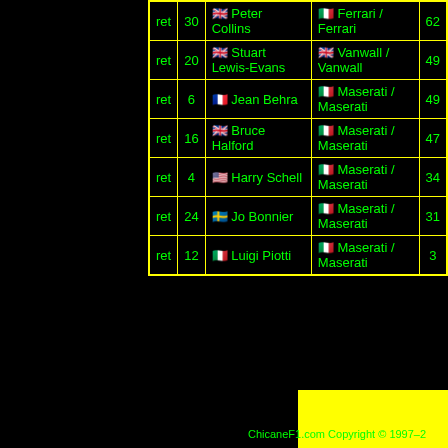| pos | no | driver | car | laps |
| --- | --- | --- | --- | --- |
| ret | 30 | 🇬🇧 Peter Collins | 🇮🇹 Ferrari / Ferrari | 62 |
| ret | 20 | 🇬🇧 Stuart Lewis-Evans | 🇬🇧 Vanwall / Vanwall | 49 |
| ret | 6 | 🇫🇷 Jean Behra | 🇮🇹 Maserati / Maserati | 49 |
| ret | 16 | 🇬🇧 Bruce Halford | 🇮🇹 Maserati / Maserati | 47 |
| ret | 4 | 🇺🇸 Harry Schell | 🇮🇹 Maserati / Maserati | 34 |
| ret | 24 | 🇸🇪 Jo Bonnier | 🇮🇹 Maserati / Maserati | 31 |
| ret | 12 | 🇮🇹 Luigi Piotti | 🇮🇹 Maserati / Maserati | 3 |
ChicaneF1.com Copyright © 1997–2